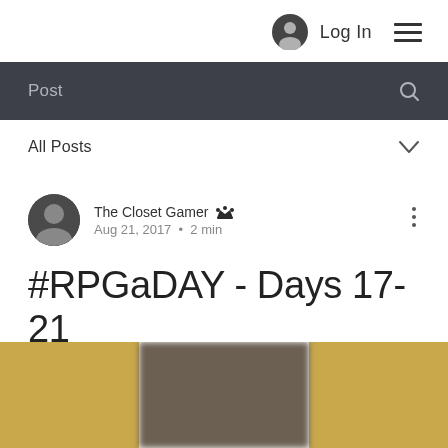Log In
Post
All Posts
The Closet Gamer  Aug 21, 2017  •  2 min
#RPGaDAY - Days 17-21
[Figure (photo): Blurred preview image with golden/tan and dark center tones]